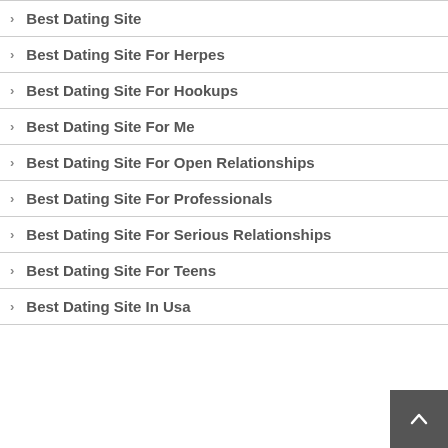Best Dating Site
Best Dating Site For Herpes
Best Dating Site For Hookups
Best Dating Site For Me
Best Dating Site For Open Relationships
Best Dating Site For Professionals
Best Dating Site For Serious Relationships
Best Dating Site For Teens
Best Dating Site In Usa